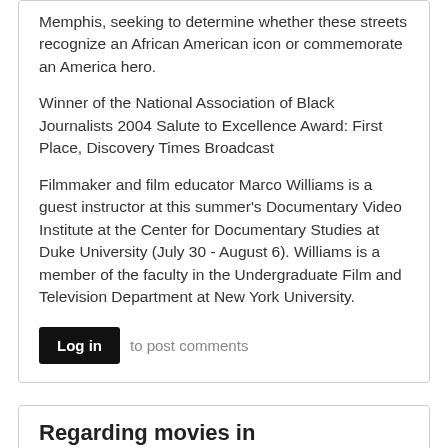Memphis, seeking to determine whether these streets recognize an African American icon or commemorate an America hero.
Winner of the National Association of Black Journalists 2004 Salute to Excellence Award: First Place, Discovery Times Broadcast
Filmmaker and film educator Marco Williams is a guest instructor at this summer's Documentary Video Institute at the Center for Documentary Studies at Duke University (July 30 - August 6). Williams is a member of the faculty in the Undergraduate Film and Television Department at New York University.
Log in to post comments
Regarding movies in
Submitted by Ed Nealy (not verified) on July 31, 2005 - 9:09am